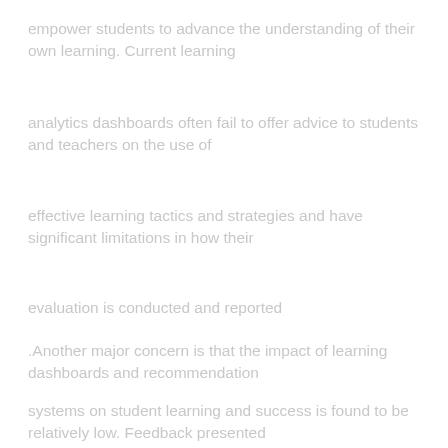empower students to advance the understanding of their own learning. Current learning
analytics dashboards often fail to offer advice to students and teachers on the use of
effective learning tactics and strategies and have significant limitations in how their
evaluation is conducted and reported
.Another major concern is that the impact of learning dashboards and recommendation
systems on student learning and success is found to be relatively low. Feedback presented